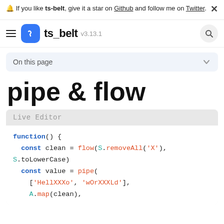🔔 If you like ts-belt, give it a star on Github and follow me on Twitter.
[Figure (logo): ts_belt logo with hamburger menu, blue rounded icon, brand name ts_belt, version v3.13.1, and search button]
On this page
pipe & flow
[Figure (screenshot): Live Editor code block showing: function() { const clean = flow(S.removeAll('X'), S.toLowerCase) const value = pipe( ['HellXXXo', 'wOrXXXLd'], A.map(clean),]